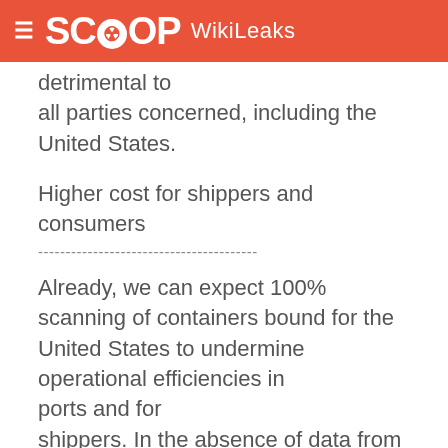≡ SCOOP WikiLeaks
detrimental to
all parties concerned, including the United States.
Higher cost for shippers and consumers
----------------------------------------
Already, we can expect 100% scanning of containers bound for the United States to undermine operational efficiencies in ports and for shippers. In the absence of data from the SFI pilot study, we will not be able to assess the full implications of this